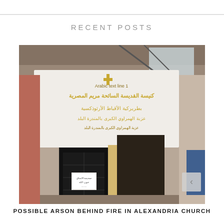RECENT POSTS
[Figure (photo): Exterior of a church with Arabic text signage in gold letters on a white background, showing the entrance with dark doors and fire/smoke damage visible at the top. The sign appears to read 'Church of Saint Mary the Egyptian' in Arabic.]
POSSIBLE ARSON BEHIND FIRE IN ALEXANDRIA CHURCH